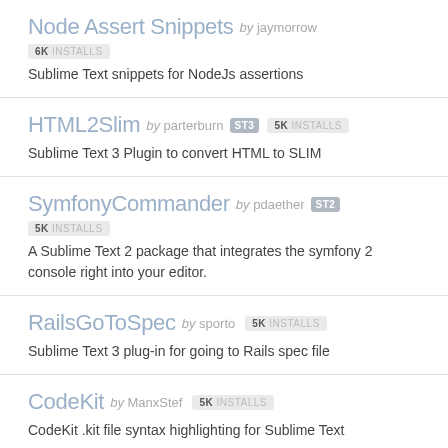Node Assert Snippets by jaymorrow
6K INSTALLS
Sublime Text snippets for NodeJs assertions
HTML2Slim by parterburn  ST3  5K INSTALLS
Sublime Text 3 Plugin to convert HTML to SLIM
SymfonyCommander by pdaether  ST2  5K INSTALLS
A Sublime Text 2 package that integrates the symfony 2 console right into your editor.
RailsGoToSpec by sporto  5K INSTALLS
Sublime Text 3 plug-in for going to Rails spec file
CodeKit by ManxStef  5K INSTALLS
CodeKit .kit file syntax highlighting for Sublime Text